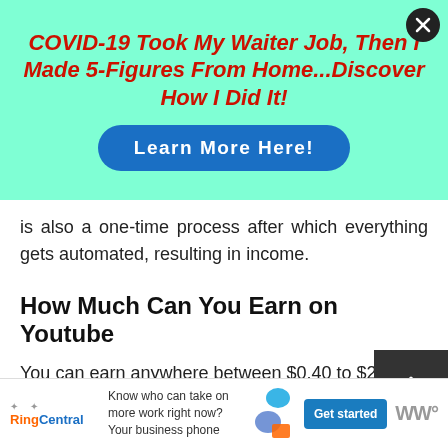[Figure (infographic): Promotional ad banner with mint/turquoise background. Bold red italic title: 'COVID-19 Took My Waiter Job, Then I Made 5-Figures From Home...Discover How I Did It!' and a blue pill-shaped button 'Learn More Here!'. A dark circular close/X button in top-right corner.]
is also a one-time process after which everything gets automated, resulting in income.
How Much Can You Earn on Youtube
You can earn anywhere between $0.40 to $2.50 per 100 views.
[Figure (infographic): RingCentral advertisement bar at bottom. RingCentral logo in orange/blue, text 'Know who can take on more work right now? Your business phone', a blue 'Get started' button, and Webex logo.]